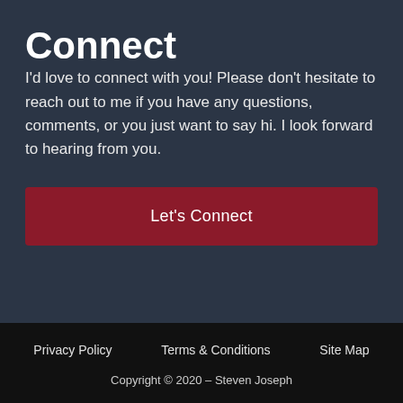Connect
I'd love to connect with you! Please don't hesitate to reach out to me if you have any questions, comments, or you just want to say hi. I look forward to hearing from you.
Let's Connect
Privacy Policy   Terms & Conditions   Site Map
Copyright © 2020 – Steven Joseph